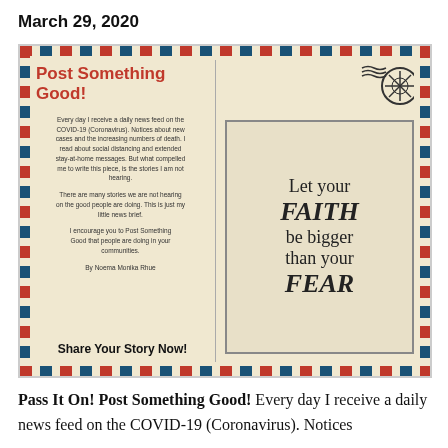March 29, 2020
[Figure (illustration): Postcard-style image with airmail border. Left half has title 'Post Something Good!' in red, body text by Noema Monika Rhue about COVID-19 news and posting good stories, and 'Share Your Story Now!' at the bottom. Right half shows an inspirational image with text 'Let your FAITH be bigger than your FEAR' and a postage stamp icon with snowflake in the top right corner.]
Pass It On! Post Something Good! Every day I receive a daily news feed on the COVID-19 (Coronavirus). Notices